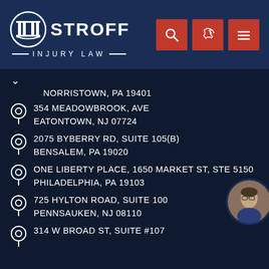[Figure (logo): Stroff Injury Law logo with column icon and text]
NORRISTOWN, PA 19401
354 MEADOWBROOK, AVE
EATONTOWN, NJ 07724
2075 BYBERRY RD, SUITE 105(B)
BENSALEM, PA 19020
ONE LIBERTY PLACE, 1650 MARKET ST, STE 5150
PHILADELPHIA, PA 19103
725 HYLTON ROAD, SUITE 100
PENNSAUKEN, NJ 08110
314 W BROAD ST, SUITE #107
[Figure (photo): Circular portrait photo of a man in suit with glasses]